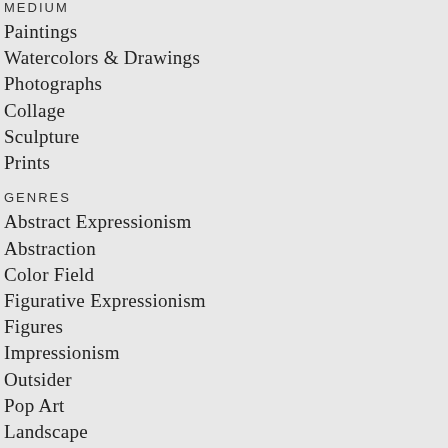MEDIUM
Paintings
Watercolors & Drawings
Photographs
Collage
Sculpture
Prints
GENRES
Abstract Expressionism
Abstraction
Color Field
Figurative Expressionism
Figures
Impressionism
Outsider
Pop Art
Landscape
Surrealism